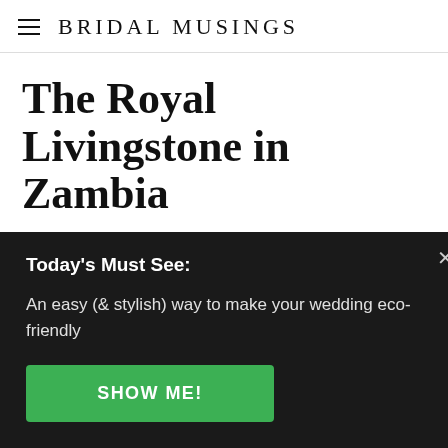BRIDAL MUSINGS
The Royal Livingstone in Zambia
Politically stable, English-speaking, and rich with luxe accommodations—Zambia is my all-time favourite African country for hosting a destination
Today's Must See:
An easy (& stylish) way to make your wedding eco-friendly
SHOW ME!